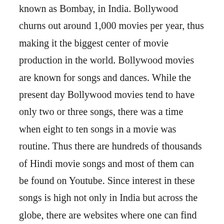known as Bombay, in India. Bollywood churns out around 1,000 movies per year, thus making it the biggest center of movie production in the world. Bollywood movies are known for songs and dances. While the present day Bollywood movies tend to have only two or three songs, there was a time when eight to ten songs in a movie was routine. Thus there are hundreds of thousands of Hindi movie songs and most of them can be found on Youtube. Since interest in these songs is high not only in India but across the globe, there are websites where one can find the lyrics of these movie songs in Hindi as well as in Roman Hindi, Hindi written using Roman alphabet, and also in many other languages. Figure 1 gives an example of lyrics of a Bollywood movie song written both in Devanagari script and in Roman script. Thus, creating a corpus of